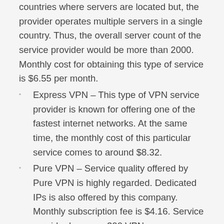countries where servers are located but, the provider operates multiple servers in a single country. Thus, the overall server count of the service provider would be more than 2000. Monthly cost for obtaining this type of service is $6.55 per month.
Express VPN – This type of VPN service provider is known for offering one of the fastest internet networks. At the same time, the monthly cost of this particular service comes to around $8.32.
Pure VPN – Service quality offered by Pure VPN is highly regarded. Dedicated IPs is also offered by this company. Monthly subscription fee is $4.16. Service provider has over 300 VPN servers operating from more than 85 countries.